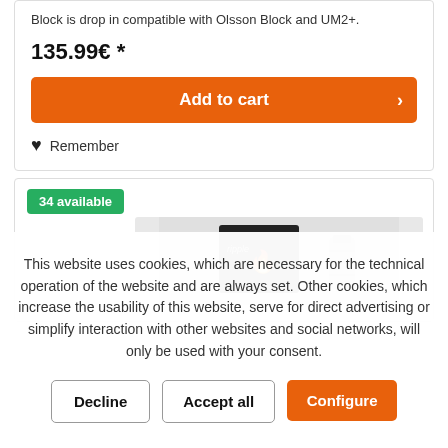Block is drop in compatible with Olsson Block and UM2+.
135.99€ *
Add to cart
Remember
34 available
[Figure (photo): Product photo showing a dark box with flame logo and a metal cylindrical component]
This website uses cookies, which are necessary for the technical operation of the website and are always set. Other cookies, which increase the usability of this website, serve for direct advertising or simplify interaction with other websites and social networks, will only be used with your consent.
Decline
Accept all
Configure